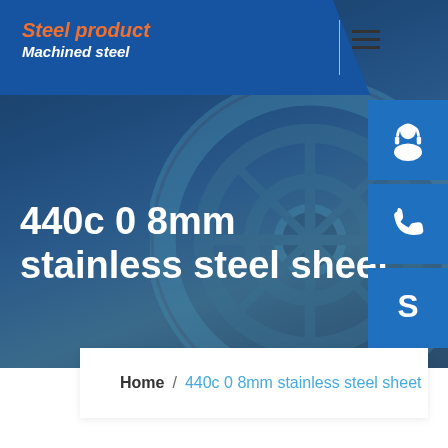[Figure (screenshot): Steel product website header with dark blue hero background showing machined steel circular gear/wheel, company logo area with 'Steel product / Machined steel' text, navigation menu icon, side contact buttons (support, phone, Skype), and hero title text '440c 0 8mm stainless steel sheet']
Steel product
Machined steel
440c 0 8mm stainless steel sheet
Home  /  440c 0 8mm stainless steel sheet